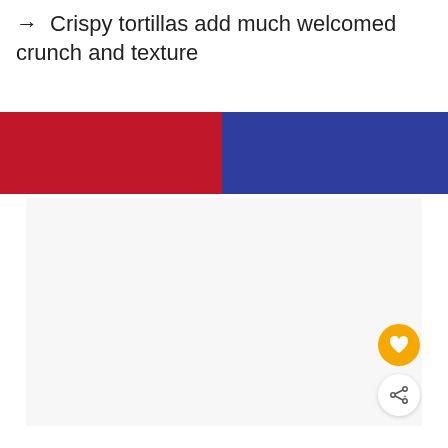→ Crispy tortillas add much welcomed crunch and texture
[Figure (other): Two-tone horizontal color bar: left half red (#c0182a), right half blue (#2f3d9e)]
[Figure (photo): Large white/light gray image area (photo content not visible)]
[Figure (other): Orange circular heart/favorite button and white circular share button overlaid at bottom right]